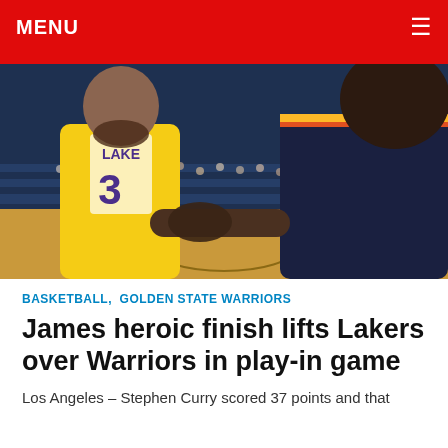MENU ☰
[Figure (photo): Two NBA players shaking hands on the court — a Lakers player in yellow jersey number 3 and a Golden State Warriors player in dark navy jersey, both with tattoos visible, basketball court visible in background.]
BASKETBALL, GOLDEN STATE WARRIORS
James heroic finish lifts Lakers over Warriors in play-in game
Los Angeles – Stephen Curry scored 37 points and that